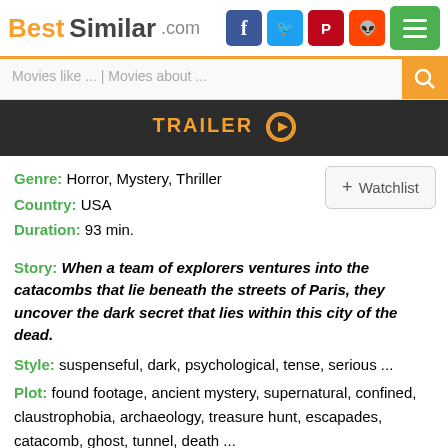BestSimilar.com
[Figure (screenshot): TRAILER button with play icon on dark background]
Genre: Horror, Mystery, Thriller
Country: USA
Duration: 93 min.
Story: When a team of explorers ventures into the catacombs that lie beneath the streets of Paris, they uncover the dark secret that lies within this city of the dead.
Style: suspenseful, dark, psychological, tense, serious ...
Plot: found footage, ancient mystery, supernatural, confined, claustrophobia, archaeology, treasure hunt, escapades, catacomb, ghost, tunnel, death ...
Cookies help us deliver our services. By using our website or clicking "Accept", you agree to our use of cookies as described in our Privacy Policy.